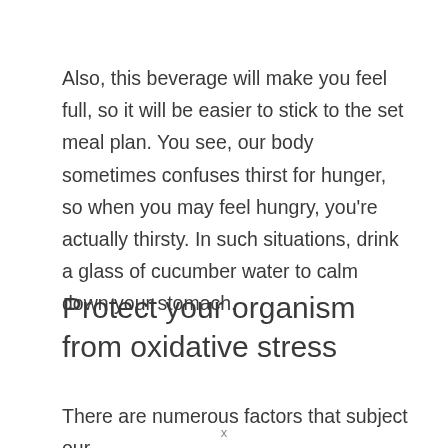Also, this beverage will make you feel full, so it will be easier to stick to the set meal plan. You see, our body sometimes confuses thirst for hunger, so when you may feel hungry, you're actually thirsty. In such situations, drink a glass of cucumber water to calm down your stomach.
Protect your organism from oxidative stress
There are numerous factors that subject our